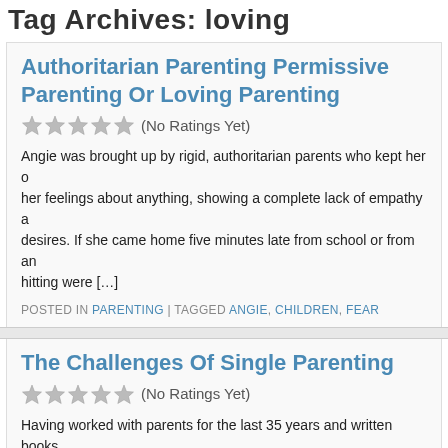Tag Archives: loving
Authoritarian Parenting Permissive Parenting Or Loving Parenting
(No Ratings Yet)
Angie was brought up by rigid, authoritarian parents who kept her o... her feelings about anything, showing a complete lack of empathy a... desires. If she came home five minutes late from school or from an... hitting were [...]
POSTED IN PARENTING | TAGGED ANGIE, CHILDREN, FEAR
The Challenges Of Single Parenting
(No Ratings Yet)
Having worked with parents for the last 35 years and written books... discovered that one of the greatest challenges for us as parents is t... showing our children through our behavior how to take personal res... needs. Our children [...]